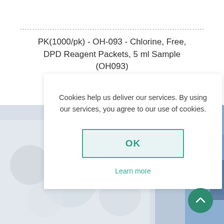PK(1000/pk) - OH-093 - Chlorine, Free, DPD Reagent Packets, 5 ml Sample (OH093)
[Figure (photo): Blurry close-up photo of white powder/granules (reagent packets) with a label showing 'XP.04/2012', and a blue area on the right side]
Cookies help us deliver our services. By using our services, you agree to our use of cookies.
OK
Learn more